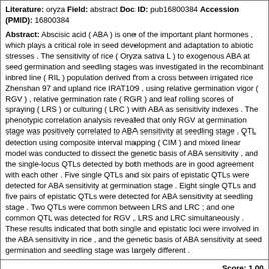Literature: oryza Field: abstract Doc ID: pub16800384 Accession (PMID): 16800384
Abstract: Abscisic acid ( ABA ) is one of the important plant hormones , which plays a critical role in seed development and adaptation to abiotic stresses . The sensitivity of rice ( Oryza sativa L ) to exogenous ABA at seed germination and seedling stages was investigated in the recombinant inbred line ( RIL ) population derived from a cross between irrigated rice Zhenshan 97 and upland rice IRAT109 , using relative germination vigor ( RGV ) , relative germination rate ( RGR ) and leaf rolling scores of spraying ( LRS ) or culturing ( LRC ) with ABA as sensitivity indexes . The phenotypic correlation analysis revealed that only RGV at germination stage was positively correlated to ABA sensitivity at seedling stage . QTL detection using composite interval mapping ( CIM ) and mixed linear model was conducted to dissect the genetic basis of ABA sensitivity , and the single-locus QTLs detected by both methods are in good agreement with each other . Five single QTLs and six pairs of epistatic QTLs were detected for ABA sensitivity at germination stage . Eight single QTLs and five pairs of epistatic QTLs were detected for ABA sensitivity at seedling stage . Two QTLs were common between LRS and LRC ; and one common QTL was detected for RGV , LRS and LRC simultaneously . These results indicated that both single and epistatic loci were involved in the ABA sensitivity in rice , and the genetic basis of ABA sensitivity at seed germination and seedling stage was largely different .
Score: 1.00
Year: 2006  Type: ARTICLE
Literature: oryza Field: abstract Doc ID: pub16818431 Accession (PMID): 16818431